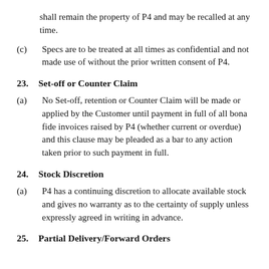shall remain the property of P4 and may be recalled at any time.
(c) Specs are to be treated at all times as confidential and not made use of without the prior written consent of P4.
23. Set-off or Counter Claim
(a) No Set-off, retention or Counter Claim will be made or applied by the Customer until payment in full of all bona fide invoices raised by P4 (whether current or overdue) and this clause may be pleaded as a bar to any action taken prior to such payment in full.
24. Stock Discretion
(a) P4 has a continuing discretion to allocate available stock and gives no warranty as to the certainty of supply unless expressly agreed in writing in advance.
25. Partial Delivery/Forward Orders